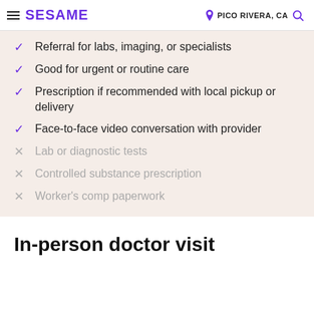SESAME | PICO RIVERA, CA
Referral for labs, imaging, or specialists
Good for urgent or routine care
Prescription if recommended with local pickup or delivery
Face-to-face video conversation with provider
Lab or diagnostic tests
Controlled substance prescription
Worker's comp paperwork
In-person doctor visit